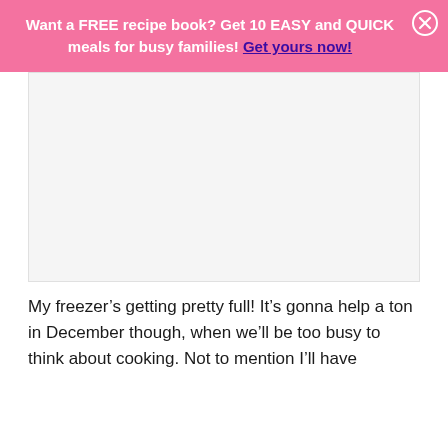Want a FREE recipe book? Get 10 EASY and QUICK meals for busy families! Get yours now!
[Figure (other): Large rectangular image placeholder with light gray background, content not visible]
My freezer’s getting pretty full! It’s gonna help a ton in December though, when we’ll be too busy to think about cooking. Not to mention I’ll have